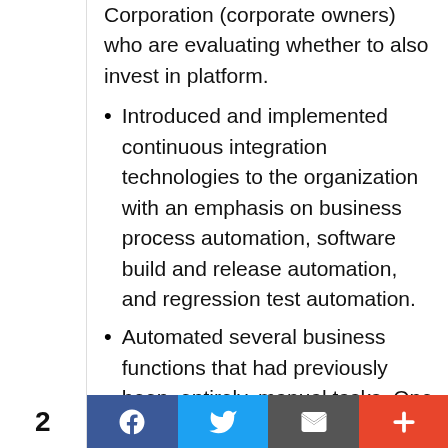Corporation (corporate owners) who are evaluating whether to also invest in platform.
Introduced and implemented continuous integration technologies to the organization with an emphasis on business process automation, software build and release automation, and regression test automation.
Automated several business functions that had previously been, entirely, manual tasks. One such example reduced the necessary time to
2